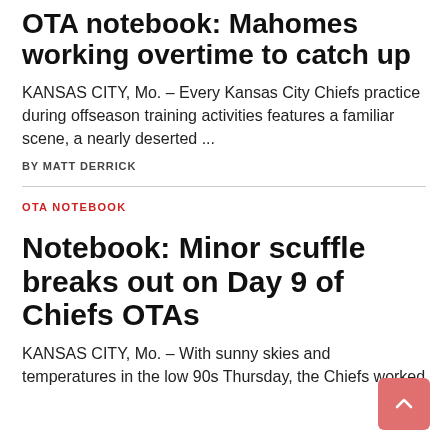OTA notebook: Mahomes working overtime to catch up
KANSAS CITY, Mo. – Every Kansas City Chiefs practice during offseason training activities features a familiar scene, a nearly deserted ...
BY MATT DERRICK
OTA NOTEBOOK
Notebook: Minor scuffle breaks out on Day 9 of Chiefs OTAs
KANSAS CITY, Mo. – With sunny skies and temperatures in the low 90s Thursday, the Chiefs worked